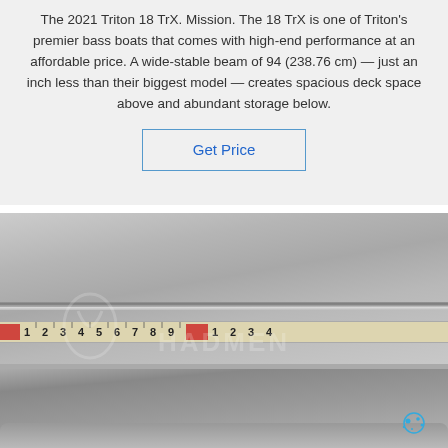The 2021 Triton 18 TrX. Mission. The 18 TrX is one of Triton's premier bass boats that comes with high-end performance at an affordable price. A wide-stable beam of 94 (238.76 cm) — just an inch less than their biggest model — creates spacious deck space above and abundant storage below.
[Figure (other): A clickable 'Get Price' button with blue text and rectangular border on white background]
[Figure (photo): Close-up photo of a metallic boat hull surface with a measuring tape/ruler across it showing numbers 1-9 and then 1-3, with a watermark reading HADMEN and a TOP logo in the bottom right corner with blue dot graphic]